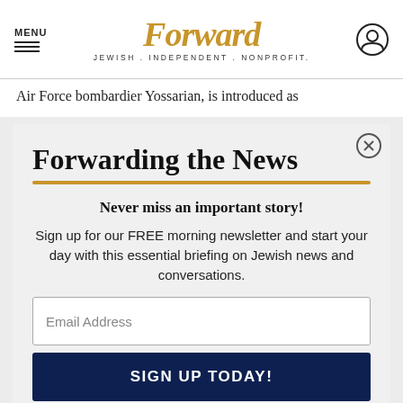MENU | Forward JEWISH . INDEPENDENT . NONPROFIT.
Air Force bombardier Yossarian, is introduced as
Forwarding the News
Never miss an important story!
Sign up for our FREE morning newsletter and start your day with this essential briefing on Jewish news and conversations.
Email Address
SIGN UP TODAY!